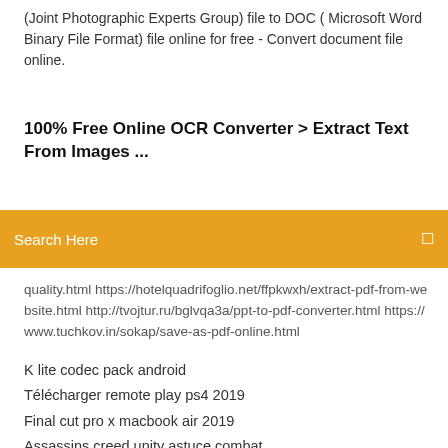(Joint Photographic Experts Group) file to DOC ( Microsoft Word Binary File Format) file online for free - Convert document file online.
100% Free Online OCR Converter > Extract Text From Images ...
[Figure (screenshot): Orange search bar with 'Search Here' placeholder text and a search icon on the right]
quality.html https://hotelquadrifoglio.net/ffpkwxh/extract-pdf-from-website.html http://tvojtur.ru/bglvqa3a/ppt-to-pdf-converter.html https://www.tuchkov.in/sokap/save-as-pdf-online.html
K lite codec pack android
Télécharger remote play ps4 2019
Final cut pro x macbook air 2019
Assassins creed unity astuce combat
Comment récupérer des photos effacées sur carte sd